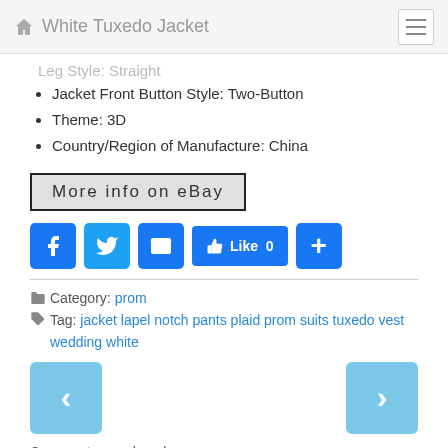White Tuxedo Jacket
Leg Style: Straight
Jacket Front Button Style: Two-Button
Theme: 3D
Country/Region of Manufacture: China
[Figure (screenshot): More info on eBay button with black border]
[Figure (infographic): Social share buttons: Facebook, Twitter, Email, Like 0, Plus]
Category: prom
Tag: jacket lapel notch pants plaid prom suits tuxedo vest wedding white
[Figure (infographic): Previous and Next navigation arrow buttons]
Comments are closed.